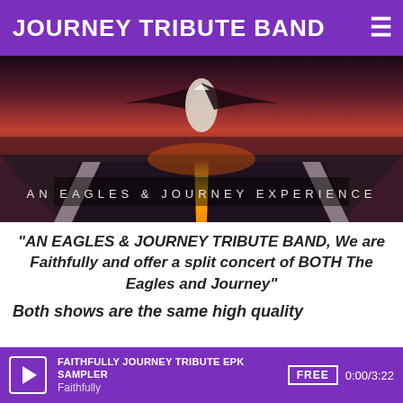JOURNEY TRIBUTE BAND
[Figure (photo): A road stretching into the distance at dusk with an eagle in flight above, text overlay reading 'AN EAGLES & JOURNEY EXPERIENCE']
"AN EAGLES & JOURNEY TRIBUTE BAND, We are Faithfully and offer a split concert of BOTH The Eagles and Journey"
Both shows are the same high quality
FAITHFULLY JOURNEY TRIBUTE EPK SAMPLER | Faithfully | FREE | 0:00/3:22